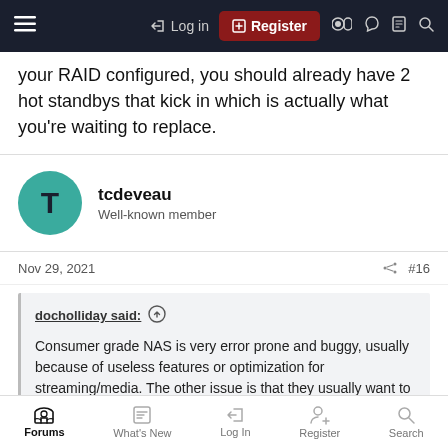Navigation bar with hamburger menu, Log in, Register, and icon buttons
your RAID configured, you should already have 2 hot standbys that kick in which is actually what you're waiting to replace.
tcdeveau
Well-known member
Nov 29, 2021   #16
docholliday said: ↑

Consumer grade NAS is very error prone and buggy, usually because of useless features or optimization for streaming/media. The other issue is that they usually want to connect via SMB and that has it's issues too. Some of them I've found it's actually more reliable to set up the FTP and run an FTP batch to as it's more properly configured. I have mine configured for iSCSI and mapped as an actual drive instead
Forums   What's New   Log In   Register   Search